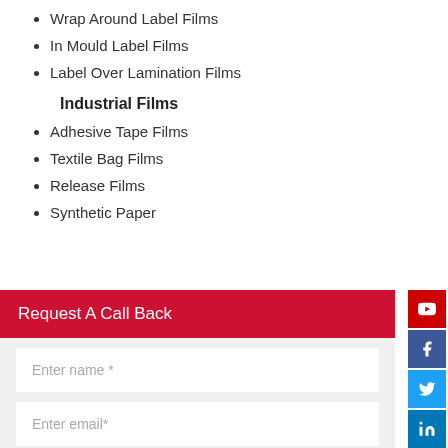Wrap Around Label Films
In Mould Label Films
Label Over Lamination Films
Industrial Films
Adhesive Tape Films
Textile Bag Films
Release Films
Synthetic Paper
Request A Call Back
Enter name *
Enter email*
Enter Phone number*